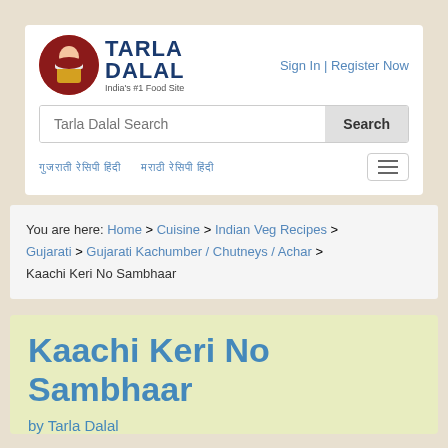[Figure (logo): Tarla Dalal logo with chef illustration and text 'TARLA DALAL India's #1 Food Site']
Sign In | Register Now
Tarla Dalal Search
Search
Hindi navigation links
You are here: Home > Cuisine > Indian Veg Recipes > Gujarati > Gujarati Kachumber / Chutneys / Achar > Kaachi Keri No Sambhaar
Kaachi Keri No Sambhaar
by Tarla Dalal